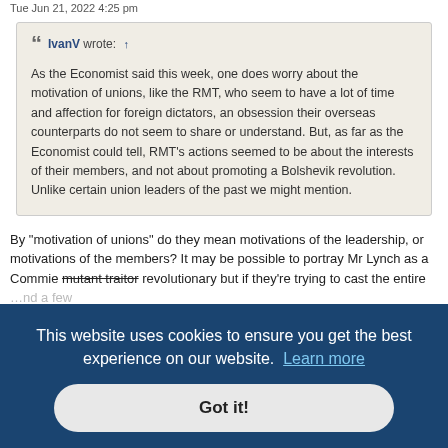Tue Jun 21, 2022 4:25 pm
IvanV wrote: ↑

As the Economist said this week, one does worry about the motivation of unions, like the RMT, who seem to have a lot of time and affection for foreign dictators, an obsession their overseas counterparts do not seem to share or understand. But, as far as the Economist could tell, RMT's actions seemed to be about the interests of their members, and not about promoting a Bolshevik revolution. Unlike certain union leaders of the past we might mention.
By "motivation of unions" do they mean motivations of the leadership, or motivations of the members? It may be possible to portray Mr Lynch as a Commie mutant traitor revolutionary but if they're trying to cast the entire ...nd a few ...ng to a
This website uses cookies to ensure you get the best experience on our website. Learn more
Got it!
IvanV